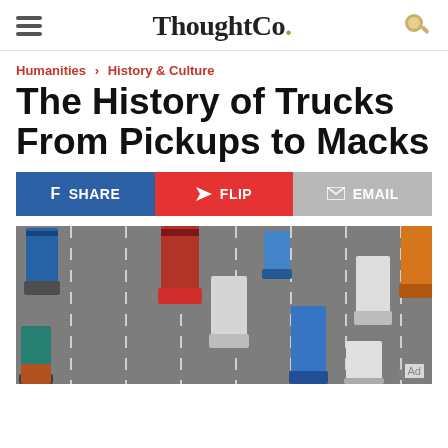ThoughtCo.
Humanities › History & Culture
The History of Trucks From Pickups to Macks
SHARE | FLIP | EMAIL
[Figure (photo): Aerial view of multiple colorful semi-trucks and cargo trucks driving on a highway with lane markings visible. Trucks include blue, red, orange, white, and teal colored vehicles with various cargo containers.]